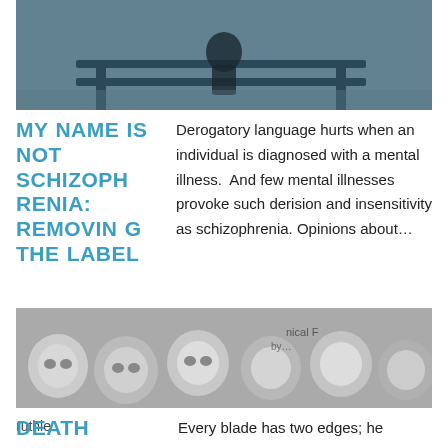[Figure (photo): Black and white photo of a person sitting on a bench with head down]
MY NAME IS NOT SCHIZOPHRENIA: REMOVING THE LABEL
Derogatory language hurts when an individual is diagnosed with a mental illness.  And few mental illnesses provoke such derision and insensitivity as schizophrenia. Opinions about…
December 28, 2012
ruthie
[Figure (photo): Black and white photo of many human skulls piled together]
DEATH
Every blade has two edges; he